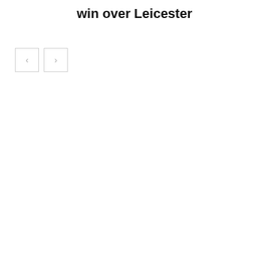win over Leicester
[Figure (other): Navigation buttons: a left arrow button and a right arrow button, both with light gray borders on white background]